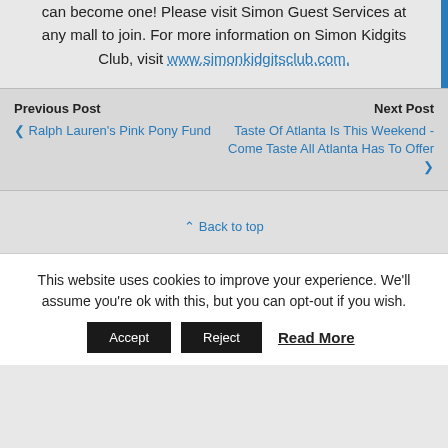can become one! Please visit Simon Guest Services at any mall to join. For more information on Simon Kidgits Club, visit www.simonkidgitsclub.com.
Previous Post
< Ralph Lauren's Pink Pony Fund
Next Post
Taste Of Atlanta Is This Weekend - Come Taste All Atlanta Has To Offer >
^ Back to top
This website uses cookies to improve your experience. We'll assume you're ok with this, but you can opt-out if you wish.
Accept  Reject  Read More